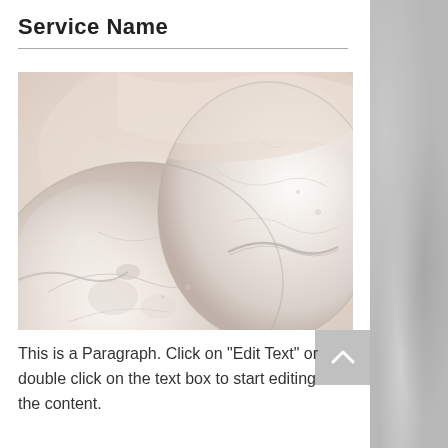Service Name
[Figure (photo): Close-up photograph of translucent white/cream mineral stones or crystals, possibly selenite or alabaster slabs, with organic circular shapes and layered pale pink and white tones.]
This is a Paragraph. Click on "Edit Text" or double click on the text box to start editing the content.